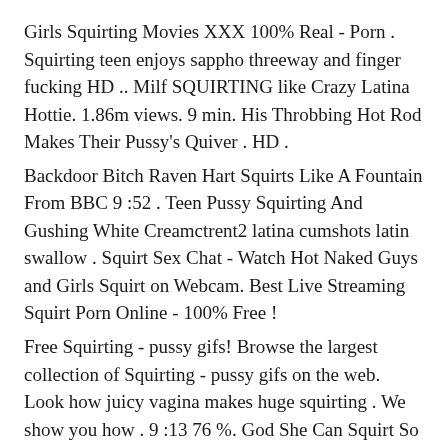Girls Squirting Movies XXX 100% Real - Porn . Squirting teen enjoys sappho threeway and finger fucking HD .. Milf SQUIRTING like Crazy Latina Hottie. 1.86m views. 9 min. His Throbbing Hot Rod Makes Their Pussy's Quiver . HD .
Backdoor Bitch Raven Hart Squirts Like A Fountain From BBC 9 :52 . Teen Pussy Squirting And Gushing White Creamctrent2 latina cumshots latin swallow . Squirt Sex Chat - Watch Hot Naked Guys and Girls Squirt on Webcam. Best Live Streaming Squirt Porn Online - 100% Free !
Free Squirting - pussy gifs! Browse the largest collection of Squirting - pussy gifs on the web. Look how juicy vagina makes huge squirting . We show you how . 9 :13 76 %. God She Can Squirt So Hard. 7:41 100 %. Biggest Milf Squirt Ever. 10:00 84